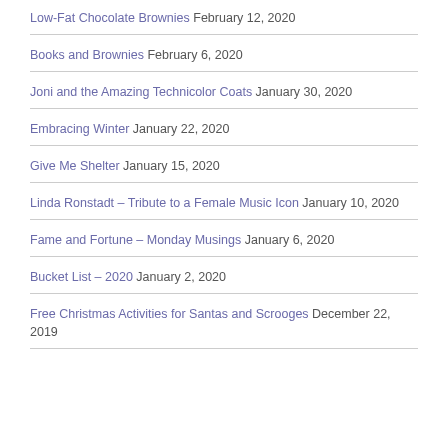Low-Fat Chocolate Brownies February 12, 2020
Books and Brownies February 6, 2020
Joni and the Amazing Technicolor Coats January 30, 2020
Embracing Winter January 22, 2020
Give Me Shelter January 15, 2020
Linda Ronstadt – Tribute to a Female Music Icon January 10, 2020
Fame and Fortune – Monday Musings January 6, 2020
Bucket List – 2020 January 2, 2020
Free Christmas Activities for Santas and Scrooges December 22, 2019